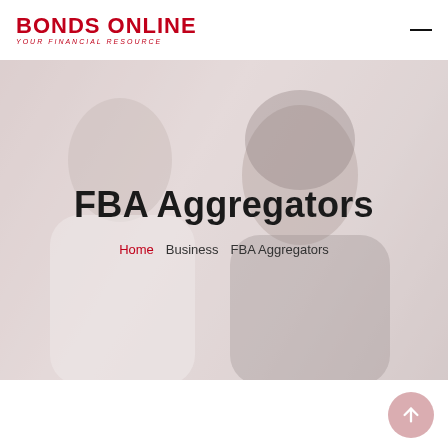BONDS ONLINE — Your Financial Resource
[Figure (photo): Hero banner with a smiling couple (man on left, woman on right) photographed close-up against a light background, with a semi-transparent overlay. Text overlay reads 'FBA Aggregators' with breadcrumb navigation 'Home / Business / FBA Aggregators'.]
FBA Aggregators
Home   Business   FBA Aggregators